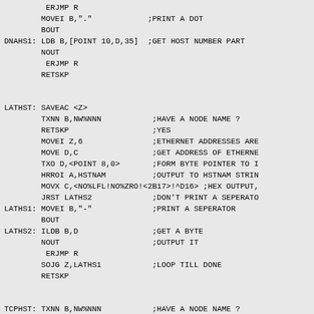ERJMP R
        MOVEI B,"."            ;PRINT A DOT
        BOUT
DNAHS1: LDB B,[POINT 10,D,35]  ;GET HOST NUMBER PART
        NOUT
         ERJMP R
        RETSKP


LATHST: SAVEAC <Z>
        TXNN B,NW%NNN           ;HAVE A NODE NAME ?
        RETSKP                  ;YES
        MOVEI Z,6               ;ETHERNET ADDRESSES ARE
        MOVE D,C                ;GET ADDRESS OF ETHERNE
        TXO D,<POINT 8,0>       ;FORM BYTE POINTER TO I
        HRROI A,HSTNAM          ;OUTPUT TO HSTNAM STRIN
        MOVX C,<NO%LFL!NO%ZRO!<2B17>!^D16> ;HEX OUTPUT,
        JRST LATHS2             ;DON'T PRINT A SEPERATO
LATHS1: MOVEI B,"-"             ;PRINT A SEPERATOR
        BOUT
LATHS2: ILDB B,D                ;GET A BYTE
        NOUT                    ;OUTPUT IT
         ERJMP R
        SOJG Z,LATHS1           ;LOOP TILL DONE
        RETSKP


TCPHST: TXNN B,NW%NNN           ;HAVE A NODE NAME ?
        RETSKP                  ;YES
        HRROI A,HSTNAM          ;TYPE HOST NUMBER LIKE